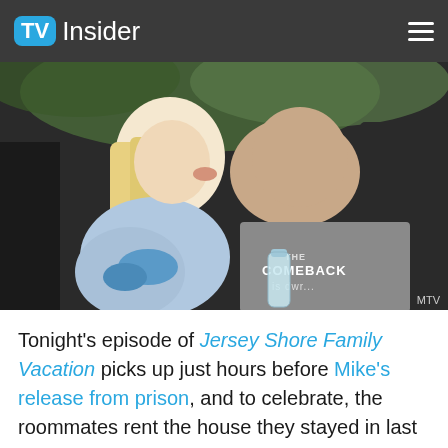TV Insider
[Figure (photo): A couple kissing in the back seat of a car. A blonde woman leans in to kiss a man wearing a gray t-shirt that reads 'THE COMEBACK is dwr...'. The man holds a water bottle.]
MTV
Tonight's episode of Jersey Shore Family Vacation picks up just hours before Mike's release from prison, and to celebrate, the roommates rent the house they stayed in last summer while they await his arrival.